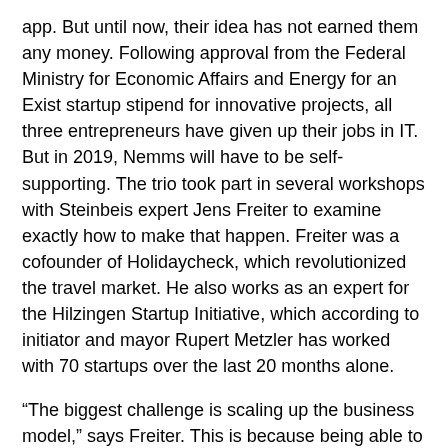app. But until now, their idea has not earned them any money. Following approval from the Federal Ministry for Economic Affairs and Energy for an Exist startup stipend for innovative projects, all three entrepreneurs have given up their jobs in IT. But in 2019, Nemms will have to be self-supporting. The trio took part in several workshops with Steinbeis expert Jens Freiter to examine exactly how to make that happen. Freiter was a cofounder of Holidaycheck, which revolutionized the travel market. He also works as an expert for the Hilzingen Startup Initiative, which according to initiator and mayor Rupert Metzler has worked with 70 startups over the last 20 months alone.
“The biggest challenge is scaling up the business model,” says Freiter. This is because being able to live off the proceeds of Nemms will require the involvement of at least five communities. There are also a good number of competitors, like Findeck in Freiburg, Lokafox, Buy Lokal, and Atalanda, which all help local stores make the leap into the internet and they always want a slice of the cake for doing so. Even the big players like Google and eBay have discovered the